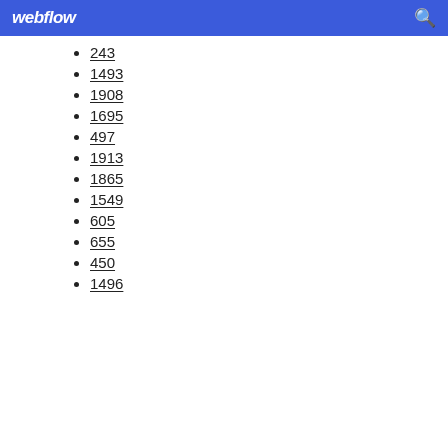webflow
243
1493
1908
1695
497
1913
1865
1549
605
655
450
1496